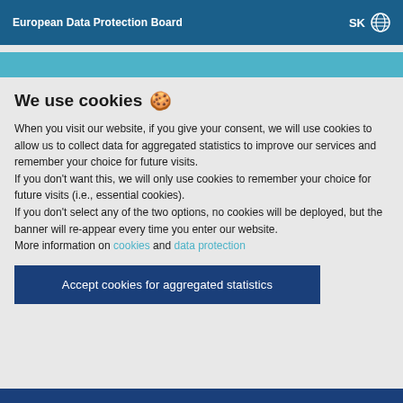European Data Protection Board  SK 🌐
We use cookies 🍪
When you visit our website, if you give your consent, we will use cookies to allow us to collect data for aggregated statistics to improve our services and remember your choice for future visits.
If you don't want this, we will only use cookies to remember your choice for future visits (i.e., essential cookies).
If you don't select any of the two options, no cookies will be deployed, but the banner will re-appear every time you enter our website.
More information on cookies and data protection
Accept cookies for aggregated statistics